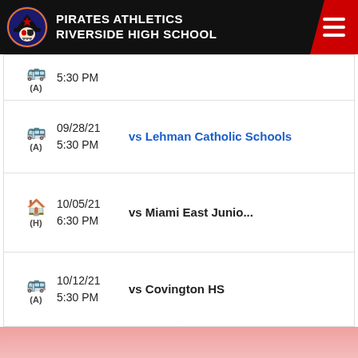PIRATES ATHLETICS RIVERSIDE HIGH SCHOOL
(A) 5:30 PM [truncated game]
09/28/21 5:30 PM (A) vs Lehman Catholic Schools
10/05/21 6:30 PM (H) vs Miami East Junio...
10/12/21 5:30 PM (A) vs Covington HS